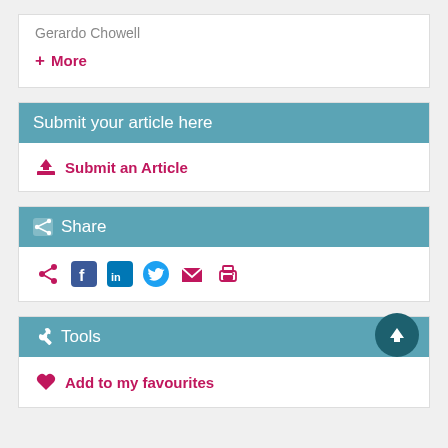Gerardo Chowell
+ More
Submit your article here
Submit an Article
Share
Share icons: share, facebook, linkedin, twitter, email, print
Tools
Add to my favourites